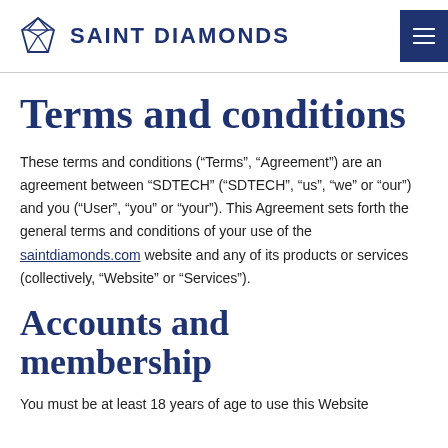SAINT DIAMONDS
Terms and conditions
These terms and conditions (“Terms”, “Agreement”) are an agreement between “SDTECH” (“SDTECH”, “us”, “we” or “our”) and you (“User”, “you” or “your”). This Agreement sets forth the general terms and conditions of your use of the saintdiamonds.com website and any of its products or services (collectively, “Website” or “Services”).
Accounts and membership
You must be at least 18 years of age to use this Website